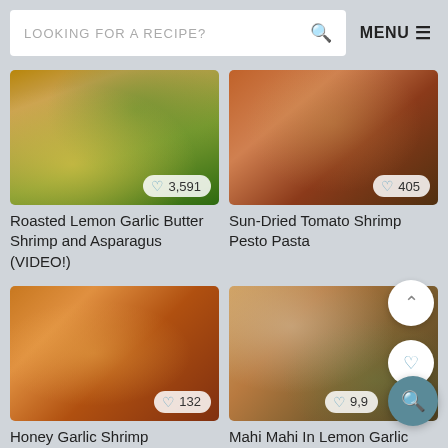LOOKING FOR A RECIPE?  MENU
[Figure (photo): Roasted shrimp with asparagus and lemon on a baking sheet, overhead view. Like count: 3,591]
Roasted Lemon Garlic Butter Shrimp and Asparagus (VIDEO!)
[Figure (photo): Sun-dried tomato shrimp pesto pasta in a pan, overhead view. Like count: 405]
Sun-Dried Tomato Shrimp Pesto Pasta
[Figure (photo): Honey garlic shrimp close-up, golden-brown color. Like count: 132]
Honey Garlic Shrimp
[Figure (photo): Mahi Mahi fish in lemon garlic cream sauce with lemon slices and herbs. Like count: 9,9xx]
Mahi Mahi In Lemon Garlic Cream Sauce